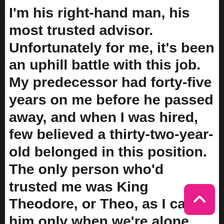I'm his right-hand man, his most trusted advisor. Unfortunately for me, it's been an uphill battle with this job. My predecessor had forty-five years on me before he passed away, and when I was hired, few believed a thirty-two-year-old belonged in this position. The only person who'd trusted me was King Theodore, or Theo, as I call him only when we're alone.

By the side of his bed, there's a burgundy wingback chair that I take a seat in. Pen and notebook in hand, I cross one leg over the other